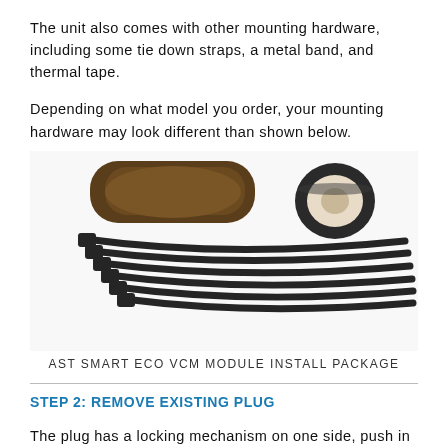The unit also comes with other mounting hardware, including some tie down straps, a metal band, and thermal tape.
Depending on what model you order, your mounting hardware may look different than shown below.
[Figure (photo): Photo of AST Smart ECO VCM Module Install Package showing a metal band (rectangular dark piece), a roll of thermal tape, and several black cable tie down straps fanned out.]
AST SMART ECO VCM MODULE INSTALL PACKAGE
STEP 2: REMOVE EXISTING PLUG
The plug has a locking mechanism on one side, push in with your thumb to unlock it, then carefully slide it out leaving the female plug from the ECT...